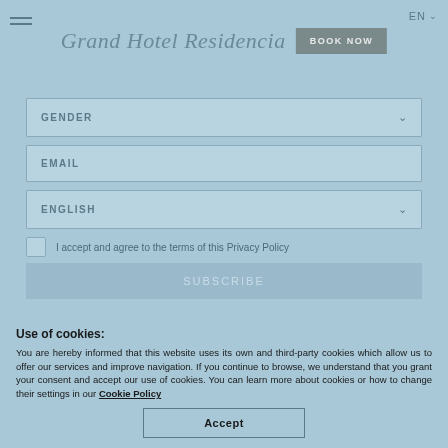Grand Hotel Residencia — BOOK NOW — EN
[Figure (screenshot): Hotel registration form with GENDER dropdown, EMAIL input, ENGLISH dropdown, privacy policy checkbox, and SUBSCRIBE button on light blue background]
Use of cookies:
You are hereby informed that this website uses its own and third-party cookies which allow us to offer our services and improve navigation. If you continue to browse, we understand that you grant your consent and accept our use of cookies. You can learn more about cookies or how to change their settings in our Cookie Policy
Accept